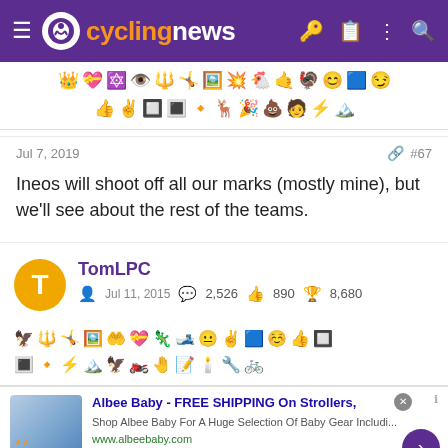cyclingnews
[Figure (illustration): Two rows of achievement badge / emoji icons displayed above a forum post]
Jul 7, 2019    #67
Ineos will shoot off all our marks (mostly mine), but we'll see about the rest of the teams.
TomLPC  Jul 11, 2015  2,526  890  8,680
[Figure (illustration): Two rows of achievement badge / emoji icons for user TomLPC]
Albee Baby - FREE SHIPPING On Strollers, Shop Albee Baby For A Huge Selection Of Baby Gear Includi... www.albeebaby.com